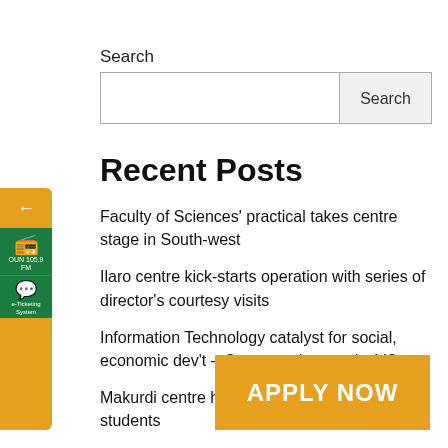Search
Search
Recent Posts
Faculty of Sciences' practical takes centre stage in South-west
Ilaro centre kick-starts operation with series of director's courtesy visits
Information Technology catalyst for social, economic dev't – Cameroonian varsity VC
Makurdi centre holds SIWES orientation for students
Faculty of Sciences commences re… practical
[Figure (screenshot): Orange sidebar widget with back arrow, green radio icon (OUN 105.9 FM), and green e-Ticketing System chat icon]
[Figure (other): Orange APPLY NOW button in bottom right corner]